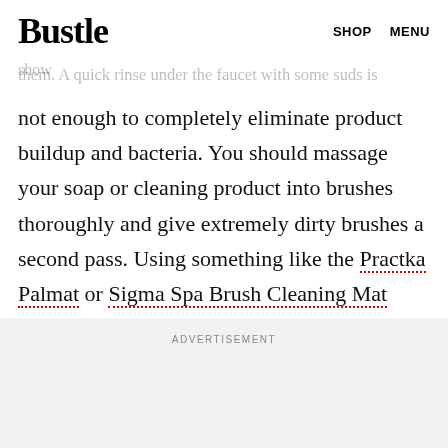Bustle  SHOP  MENU
— equally important is how you show them. A quick rinse under the faucet with some suds is
not enough to completely eliminate product buildup and bacteria. You should massage your soap or cleaning product into brushes thoroughly and give extremely dirty brushes a second pass. Using something like the Practka Palmat or Sigma Spa Brush Cleaning Mat helps to massage soap all the way into the bristles.
ADVERTISEMENT